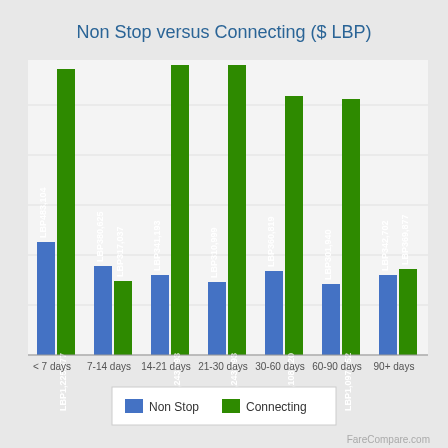[Figure (grouped-bar-chart): Non Stop versus Connecting ($ LBP)]